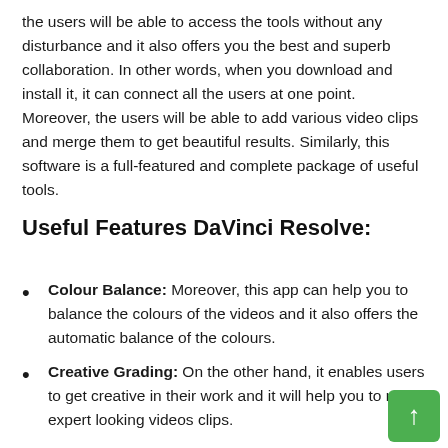the users will be able to access the tools without any disturbance and it also offers you the best and superb collaboration. In other words, when you download and install it, it can connect all the users at one point. Moreover, the users will be able to add various video clips and merge them to get beautiful results. Similarly, this software is a full-featured and complete package of useful tools.
Useful Features DaVinci Resolve:
Colour Balance: Moreover, this app can help you to balance the colours of the videos and it also offers the automatic balance of the colours.
Creative Grading: On the other hand, it enables users to get creative in their work and it will help you to make expert looking videos clips.